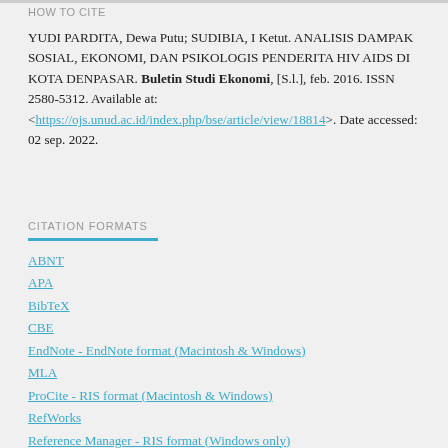HOW TO CITE
YUDI PARDITA, Dewa Putu; SUDIBIA, I Ketut. ANALISIS DAMPAK SOSIAL, EKONOMI, DAN PSIKOLOGIS PENDERITA HIV AIDS DI KOTA DENPASAR. Buletin Studi Ekonomi, [S.l.], feb. 2016. ISSN 2580-5312. Available at: <https://ojs.unud.ac.id/index.php/bse/article/view/18814>. Date accessed: 02 sep. 2022.
CITATION FORMATS
ABNT
APA
BibTeX
CBE
EndNote - EndNote format (Macintosh & Windows)
MLA
ProCite - RIS format (Macintosh & Windows)
RefWorks
Reference Manager - RIS format (Windows only)
Turabian